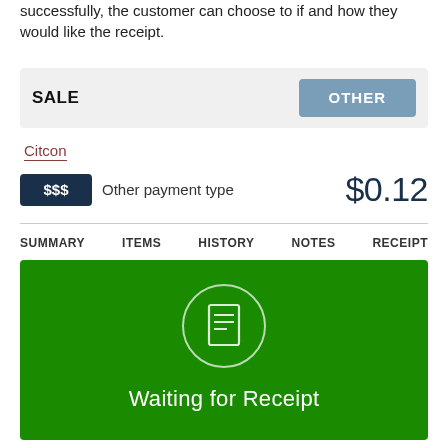successfully, the customer can choose to if and how they would like the receipt.
[Figure (screenshot): A point-of-sale UI showing a SALE transaction header with an OTHER button, Citcon payment method label, $$$ Other payment type with amount $0.12, navigation tabs (SUMMARY, ITEMS, HISTORY, NOTES, RECEIPT), and a green Waiting for Receipt screen with a receipt icon.]